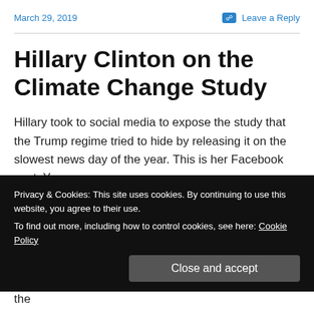March 29, 2019   Leave a Reply
Hillary Clinton on the Climate Change Study
Hillary took to social media to expose the study that the Trump regime tried to hide by releasing it on the slowest news day of the year. This is her Facebook post. You can
RT her Tweet about it:
Thought I would tack this on here. Trump promised the
Privacy & Cookies: This site uses cookies. By continuing to use this website, you agree to their use. To find out more, including how to control cookies, see here: Cookie Policy